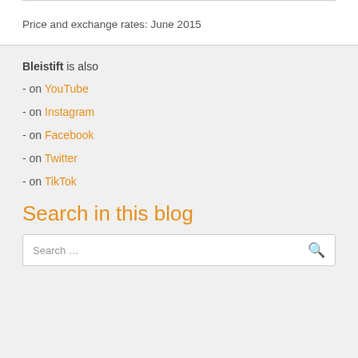Price and exchange rates: June 2015
Bleistift is also
- on YouTube
- on Instagram
- on Facebook
- on Twitter
- on TikTok
Search in this blog
Search …